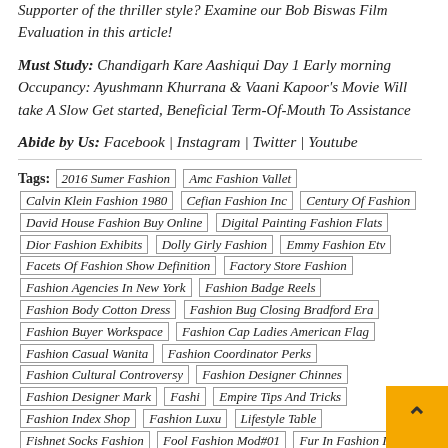Supporter of the thriller style? Examine our Bob Biswas Film Evaluation in this article!
Must Study: Chandigarh Kare Aashiqui Day 1 Early morning Occupancy: Ayushmann Khurrana & Vaani Kapoor's Movie Will take A Slow Get started, Beneficial Term-Of-Mouth To Assistance
Abide by Us: Facebook | Instagram | Twitter | Youtube
Tags: 2016 Sumer Fashion | Amc Fashion Vallet | Calvin Klein Fashion 1980 | Cefian Fashion Inc | Century Of Fashion | David House Fashion Buy Online | Digital Painting Fashion Flats | Dior Fashion Exhibits | Dolly Girly Fashion | Emmy Fashion Etv | Facets Of Fashion Show Definition | Factory Store Fashion | Fashion Agencies In New York | Fashion Badge Reels | Fashion Body Cotton Dress | Fashion Bug Closing Bradford Era | Fashion Buyer Workspace | Fashion Cap Ladies American Flag | Fashion Casual Wanita | Fashion Coordinator Perks | Fashion Cultural Controversy | Fashion Designer Chinnes | Fashion Designer Mark | Fashion Empire Tips And Tricks | Fashion Index Shop | Fashion Luxury Lifestyle Table | Fishnet Socks Fashion | Fool Fashion Mod#01 | Fur In Fashion Itally | Homeless Fashion Story | James Jean